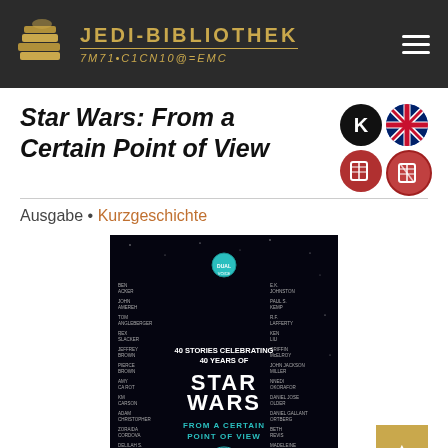JEDI-BIBLIOTHEK
Star Wars: From a Certain Point of View
Ausgabe • Kurzgeschichte
[Figure (photo): Book cover of 'Star Wars: From a Certain Point of View' — black background with author names on both sides, teal planet and Star Wars logo in center, subtitle '40 Stories Celebrating 40 Years of Star Wars: From a Certain Point of View']